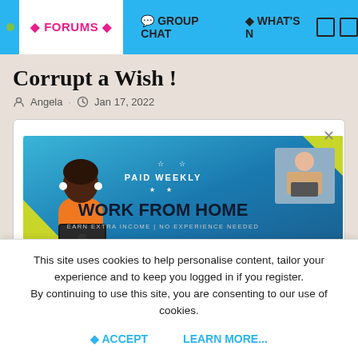FORUMS | GROUP CHAT | WHAT'S N
Corrupt a Wish !
Angela · Jan 17, 2022
[Figure (screenshot): Advertisement banner: PAID WEEKLY / WORK FROM HOME / EARN EXTRA INCOME | NO EXPERIENCE NEEDED, with illustrated person at laptop on left, photo of person with laptop on right, yellow input field at bottom center, close (×) button top right]
This site uses cookies to help personalise content, tailor your experience and to keep you logged in if you register.
By continuing to use this site, you are consenting to our use of cookies.
ACCEPT     LEARN MORE...